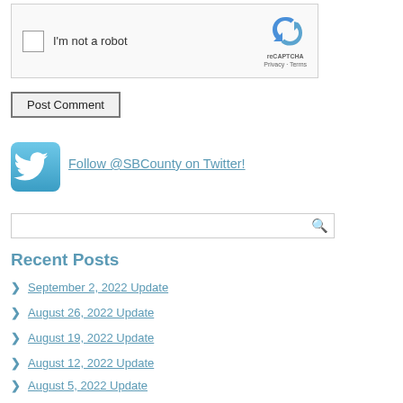[Figure (screenshot): reCAPTCHA widget with checkbox labeled 'I'm not a robot' and reCAPTCHA logo with Privacy and Terms links]
Post Comment
[Figure (logo): Twitter bird icon (teal/blue square logo)]
Follow @SBCounty on Twitter!
[Figure (screenshot): Search input box with magnifying glass icon]
Recent Posts
September 2, 2022 Update
August 26, 2022 Update
August 19, 2022 Update
August 12, 2022 Update
August 5, 2022 Update
Recent Comments